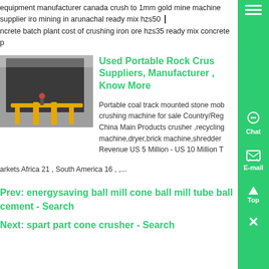equipment manufacturer canada crush to 1mm gold mine machine supplier iron mining in arunachal ready mix hzs50 ncrete batch plant cost of crushing iron ore hzs35 ready mix concrete p
Used Portable Rock Crushers Suppliers, Manufacturer , Know More
[Figure (photo): Industrial equipment, appears to be a rock crusher or large metal fabrication machine with yellow support structures in an industrial setting.]
Portable coal track mounted stone mobile crushing machine for sale Country/Region: China Main Products crusher ,recycling machine,dryer,brick machine,shredder Revenue US 5 Million - US 10 Million T
arkets Africa 21 , South America 16 , ,...
Prev: energysaving ball mill cone ball mill tube ball cement - Search
Next: spart part cone crusher - Search